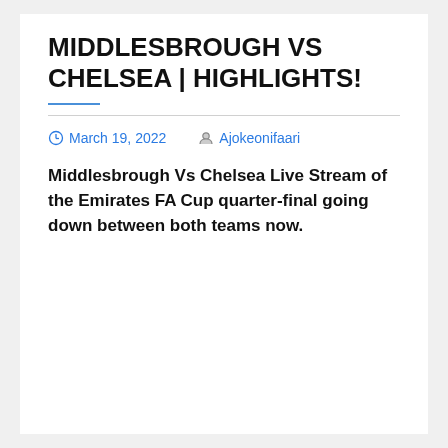MIDDLESBROUGH VS CHELSEA | HIGHLIGHTS!
March 19, 2022   Ajokeonifaari
Middlesbrough Vs Chelsea Live Stream of the Emirates FA Cup quarter-final going down between both teams now.